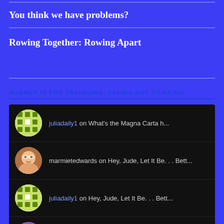You think we have problems?
Rowing Together: Rowing Apart
SUMMER IS FOR TRAVELING, SEEING AND THINKING
juliadaily1 on What's the Magna Carta h...
marmietedwards on Hey, Jude, Let It Be. . . Bett...
juliadaily1 on Hey, Jude, Let It Be. . . Bett...
Tracy on January Requires Bright Lights...